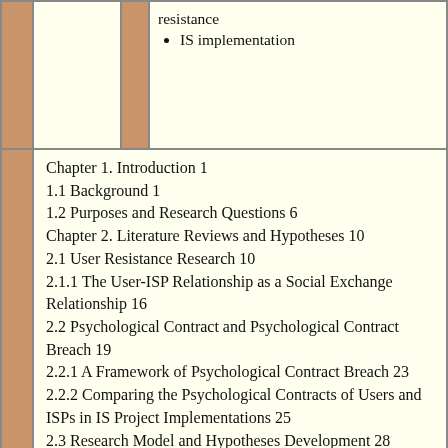resistance
• IS implementation
Chapter 1. Introduction 1
1.1 Background 1
1.2 Purposes and Research Questions 6
Chapter 2. Literature Reviews and Hypotheses 10
2.1 User Resistance Research 10
2.1.1 The User-ISP Relationship as a Social Exchange Relationship 16
2.2 Psychological Contract and Psychological Contract Breach 19
2.2.1 A Framework of Psychological Contract Breach 23
2.2.2 Comparing the Psychological Contracts of Users and ISPs in IS Project Implementations 25
2.3 Research Model and Hypotheses Development 28
2.3.1 User Resistance as a Type of Deviant Behavior in the Workplace 30
2.3.2 Reneging: Inability or Unwillingness to Fulfill the Psychological Contract 33